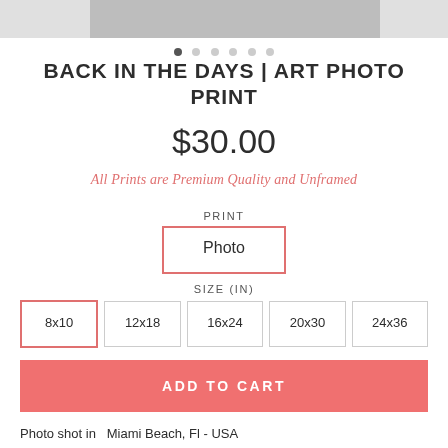[Figure (photo): Partial top image of a photo print, cropped at top of page]
BACK IN THE DAYS | ART PHOTO PRINT
$30.00
All Prints are Premium Quality and Unframed
PRINT
Photo
SIZE (IN)
8x10  12x18  16x24  20x30  24x36
ADD TO CART
Photo shot in  Miami Beach, Fl - USA